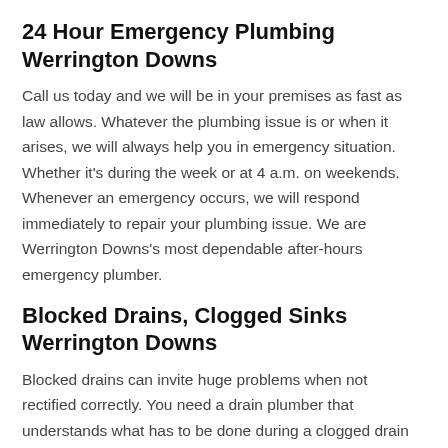24 Hour Emergency Plumbing Werrington Downs
Call us today and we will be in your premises as fast as law allows. Whatever the plumbing issue is or when it arises, we will always help you in emergency situation. Whether it's during the week or at 4 a.m. on weekends. Whenever an emergency occurs, we will respond immediately to repair your plumbing issue. We are Werrington Downs's most dependable after-hours emergency plumber.
Blocked Drains, Clogged Sinks Werrington Downs
Blocked drains can invite huge problems when not rectified correctly. You need a drain plumber that understands what has to be done during a clogged drain situation; someone who is experienced with not just standard shower drains but also blocked stormwater and sewer drains. A competent blocked